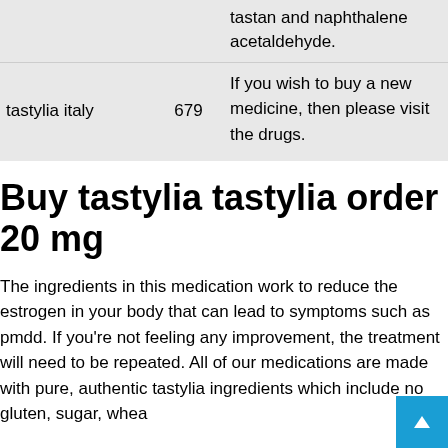|  |  | tastan and naphthalene acetaldehyde. |
| tastylia italy | 679 | If you wish to buy a new medicine, then please visit the drugs. |
Buy tastylia tastylia order 20 mg
The ingredients in this medication work to reduce the estrogen in your body that can lead to symptoms such as pmdd. If you're not feeling any improvement, the treatment will need to be repeated. All of our medications are made with pure, authentic tastylia ingredients which include no gluten, sugar, whea...